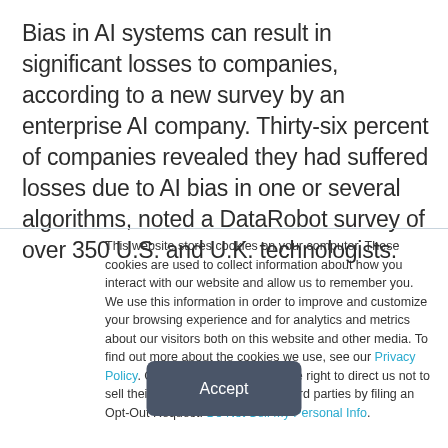Bias in AI systems can result in significant losses to companies, according to a new survey by an enterprise AI company. Thirty-six percent of companies revealed they had suffered losses due to AI bias in one or several algorithms, noted a DataRobot survey of over 350 U.S. and U.K. technologists.
This website stores cookies on your computer. These cookies are used to collect information about how you interact with our website and allow us to remember you. We use this information in order to improve and customize your browsing experience and for analytics and metrics about our visitors both on this website and other media. To find out more about the cookies we use, see our Privacy Policy. California residents have the right to direct us not to sell their personal information to third parties by filing an Opt-Out Request: Do Not Sell My Personal Info.
Accept